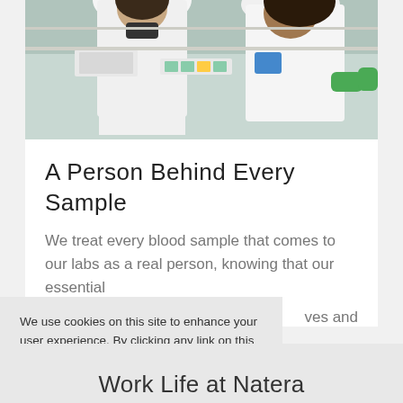[Figure (photo): Two lab technicians in white coats and gloves working at a laboratory bench with equipment and samples]
A Person Behind Every Sample
We treat every blood sample that comes to our labs as a real person, knowing that our essential [work impacts] lives and
We use cookies on this site to enhance your user experience. By clicking any link on this page you are giving your consent for us to set cookies. No, give me more info
I Agree
Dismiss
Cookie Preferences
Work Life at Natera